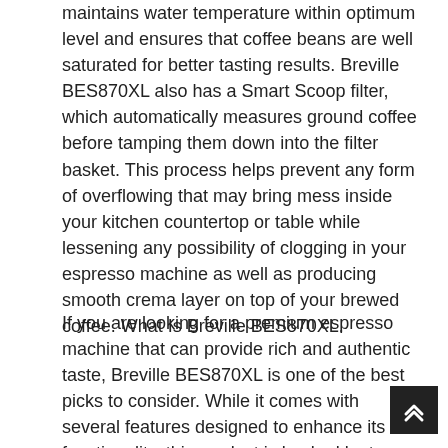maintains water temperature within optimum level and ensures that coffee beans are well saturated for better tasting results. Breville BES870XL also has a Smart Scoop filter, which automatically measures ground coffee before tamping them down into the filter basket. This process helps prevent any form of overflowing that may bring mess inside your kitchen countertop or table while lessening any possibility of clogging in your espresso machine as well as producing smooth crema layer on top of your brewed coffee. What Is Breville BES870XL.
If you are looking for a premium espresso machine that can provide rich and authentic taste, Breville BES870XL is one of the best picks to consider. While it comes with several features designed to enhance its functionality, this product is backed by two-year warranty from the manufacturer so you do not have to worry about any problems or defects.